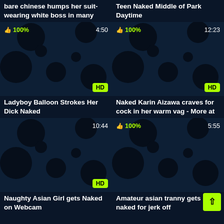bare chinese humps her suit-wearing white boss in many
Teen Naked Middle of Park Daytime
[Figure (screenshot): Video thumbnail placeholder with dark background and circles, showing 100% likes, duration 4:50, HD badge]
[Figure (screenshot): Video thumbnail placeholder with dark background and circles, showing 100% likes, duration 12:23, HD badge]
Ladyboy Balloon Strokes Her Dick Naked
Naked Karin Aizawa craves for cock in her warm vag - More at
[Figure (screenshot): Video thumbnail placeholder with dark background and circles, duration 10:44, HD badge]
[Figure (screenshot): Video thumbnail placeholder with dark background and circles, 100% likes, duration 5:55]
Naughty Asian Girl gets Naked on Webcam
Amateur asian tranny gets naked for jerk off